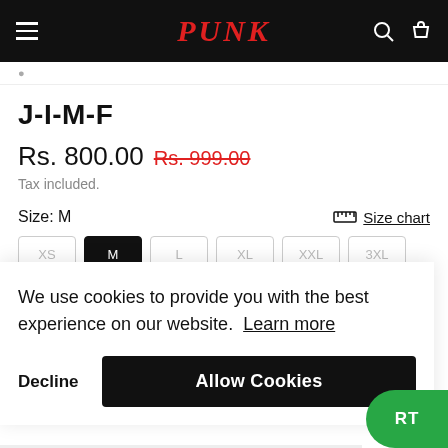PUNK
J-I-M-F
Rs. 800.00  Rs. 999.00
Tax included.
Size: M
Size chart
We use cookies to provide you with the best experience on our website. Learn more
Decline
Allow Cookies